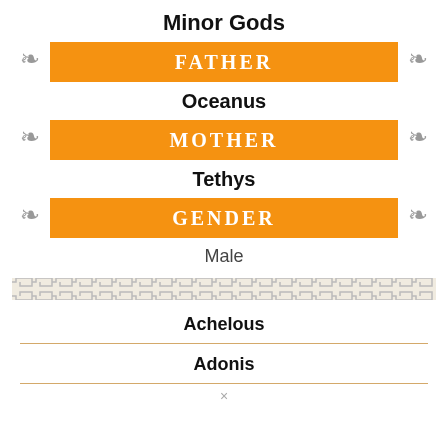Minor Gods
FATHER
Oceanus
MOTHER
Tethys
GENDER
Male
Achelous
Adonis